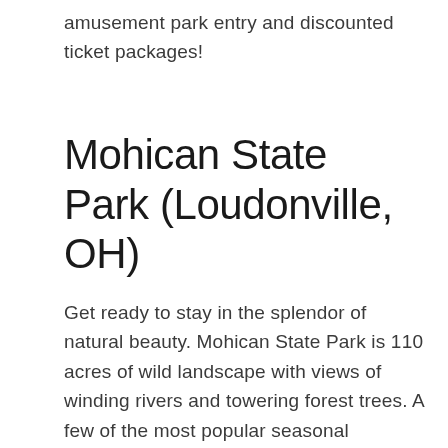amusement park entry and discounted ticket packages!
Mohican State Park (Loudonville, OH)
Get ready to stay in the splendor of natural beauty. Mohican State Park is 110 acres of wild landscape with views of winding rivers and towering forest trees. A few of the most popular seasonal activities include fishing along Mohican’s streams and hunting in the surrounding Mohican-Memorial State Forest. You can also enjoy gem mining for a small fee.